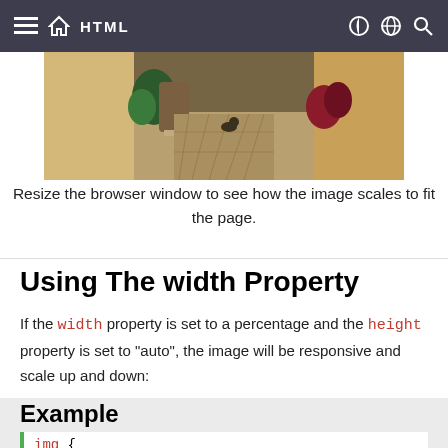HTML
[Figure (photo): Partial view of a narrow alley or street scene with a building and plants, showing a photograph cropped at the top of the page.]
Resize the browser window to see how the image scales to fit the page.
Using The width Property
If the width property is set to a percentage and the height property is set to "auto", the image will be responsive and scale up and down:
Example
img {